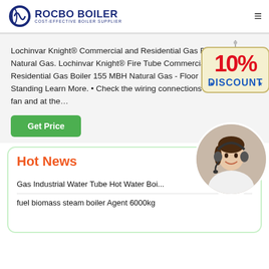ROCBO BOILER — COST-EFFECTIVE BOILER SUPPLIER
Lochinvar Knight® Commercial and Residential Gas Boiler Natural Gas. Lochinvar Knight® Fire Tube Commercial and Residential Gas Boiler 155 MBH Natural Gas - Floor Standing Learn More. • Check the wiring connections at the fan and at the...
[Figure (illustration): 10% Discount hanging tag badge]
[Figure (photo): Customer service representative wearing headset, smiling]
Hot News
Gas Industrial Water Tube Hot Water Boi...
fuel biomass steam boiler Agent 6000kg